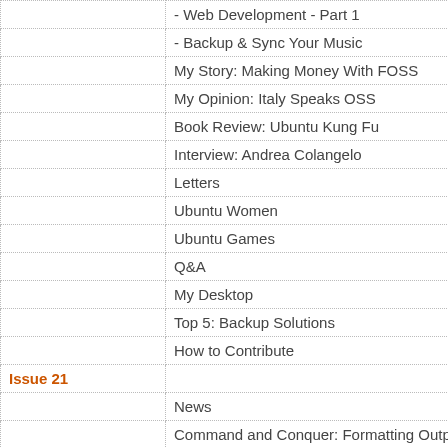| Issue | Title |
| --- | --- |
|  | - Web Development - Part 1 |
|  | - Backup & Sync Your Music |
|  | My Story: Making Money With FOSS |
|  | My Opinion: Italy Speaks OSS |
|  | Book Review: Ubuntu Kung Fu |
|  | Interview: Andrea Colangelo |
|  | Letters |
|  | Ubuntu Women |
|  | Ubuntu Games |
|  | Q&A |
|  | My Desktop |
|  | Top 5: Backup Solutions |
|  | How to Contribute |
| Issue 21 |  |
|  | News |
|  | Command and Conquer: Formatting Output |
|  | How-To: |
|  | - Program In C - Part 5 |
|  | - Web Development - Part 2 |